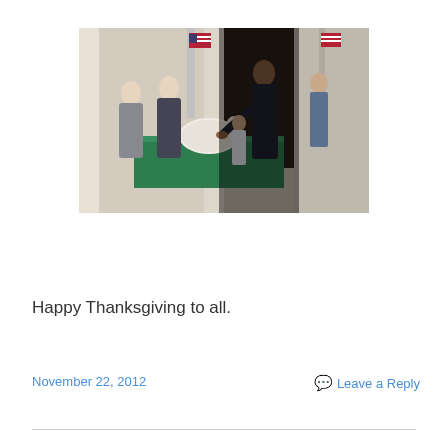[Figure (photo): President Obama performing the annual Thanksgiving turkey pardon ceremony at the White House. He is extending his hand toward a large white turkey on a green-draped table. Several other people including a man and woman in formal attire and children are present. American flags are visible in the background.]
Happy Thanksgiving to all.
November 22, 2012    Leave a Reply